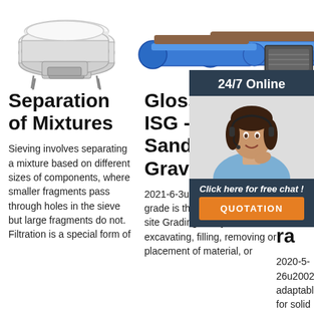[Figure (photo): Three industrial separation/sieving machines shown side by side at top of page]
[Figure (photo): Customer service representative with headset, 24/7 Online chat sidebar widget with QUOTATION button]
Separation of Mixtures
Sieving involves separating a mixture based on different sizes of components, where smaller fragments pass through holes in the sieve but large fragments do not. Filtration is a special form of
Glossary - ISG - Impact Sand & Gravel
2021-6-3u2002·u2002Finish... grade is the final grade of the site Grading is any excavating, filling, removing or placement of material, or
Par size spe and com of ra
2020-5-26u2002·u2002ably adaptable for solid waste: ASTM Designation C 136, 'Test for